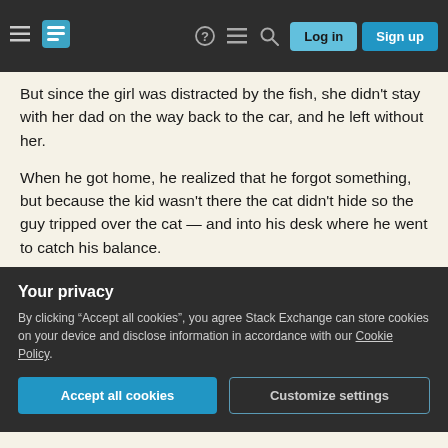Stack Exchange navigation bar with hamburger menu, logo, help, chat, search icons, Log in and Sign up buttons
But since the girl was distracted by the fish, she didn't stay with her dad on the way back to the car, and he left without her.
When he got home, he realized that he forgot something, but because the kid wasn't there the cat didn't hide so the guy tripped over the cat — and into his desk where he went to catch his balance.
While trying to get his balance, he accidentally clicked his mouse while the pointer was hovering over the down-vote button on your answer.
Your privacy
By clicking "Accept all cookies", you agree Stack Exchange can store cookies on your device and disclose information in accordance with our Cookie Policy.
Accept all cookies  Customize settings